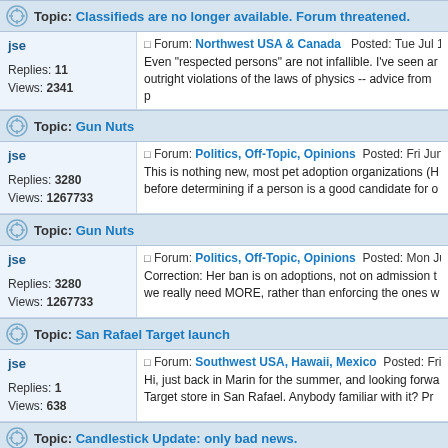Topic: Classifieds are no longer available. Forum threatened.
jse
Replies: 11
Views: 2341
Forum: Northwest USA & Canada  Posted: Tue Jul 19, 2022 5
Even "respected persons" are not infallible. I've seen ar outright violations of the laws of physics -- advice from p
Topic: Gun Nuts
jse
Replies: 3280
Views: 1267733
Forum: Politics, Off-Topic, Opinions  Posted: Fri Jun 24, 202
This is nothing new, most pet adoption organizations (H before determining if a person is a good candidate for o
Topic: Gun Nuts
jse
Replies: 3280
Views: 1267733
Forum: Politics, Off-Topic, Opinions  Posted: Mon Jun 20, 20
Correction: Her ban is on adoptions, not on admission t we really need MORE, rather than enforcing the ones w
Topic: San Rafael Target launch
jse
Replies: 1
Views: 638
Forum: Southwest USA, Hawaii, Mexico  Posted: Fri Jun 17,
Hi, just back in Marin for the summer, and looking forwa Target store in San Rafael. Anybody familiar with it? Pr
Topic: Candlestick Update: only bad news.
jse
Replies: 22
Views: 8214
Forum: Southwest USA, Hawaii, Mexico  Posted: Wed Jun 15
A couple of things to think about. First, we are only as s Andrew Sullivan and David Wells are now leading the e
Topic: Candlestick Update: only bad news.